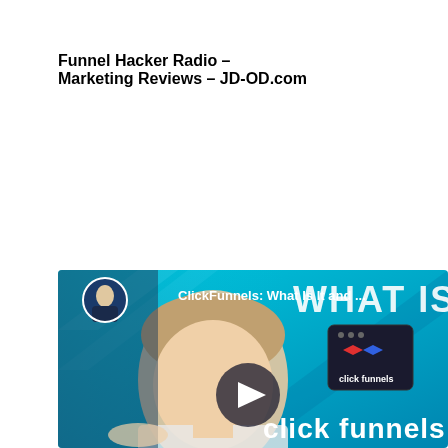Funnel Hacker Radio – Marketing Reviews – JD-OD.com
[Figure (screenshot): YouTube video thumbnail for ClickFunnels: What Is It and... showing a man's face against a cyan/blue background with WHAT IS text, ClickFunnels logo icon, play button overlay, and 'click funnels' text. A circular avatar of a man in a dark shirt appears top left.]